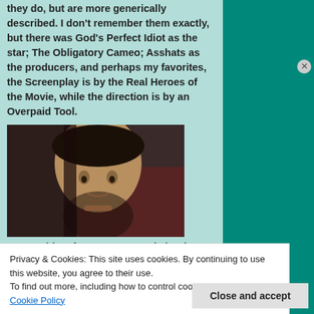they do, but are more generically described. I don't remember them exactly, but there was God's Perfect Idiot as the star; The Obligatory Cameo; Asshats as the producers, and perhaps my favorites, the Screenplay is by the Real Heroes of the Movie, while the direction is by an Overpaid Tool.
[Figure (photo): Close-up photo of a bald man with a goatee, looking serious, in a dark setting with reddish background tones.]
One problem for so many comic book films like this is...
Privacy & Cookies: This site uses cookies. By continuing to use this website, you agree to their use. To find out more, including how to control cookies, see here: Cookie Policy
Close and accept